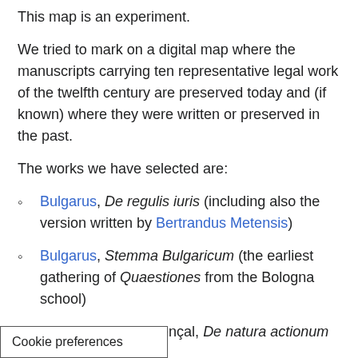This map is an experiment.
We tried to mark on a digital map where the manuscripts carrying ten representative legal work of the twelfth century are preserved today and (if known) where they were written or preserved in the past.
The works we have selected are:
Bulgarus, De regulis iuris (including also the version written by Bertrandus Metensis)
Bulgarus, Stemma Bulgaricum (the earliest gathering of Quaestiones from the Bologna school)
Geraudus the Provençal, De natura actionum
Geraudus, Summa Codicis (Trecensis)
…us, Summa « Quicumque vult » (on
Cookie preferences